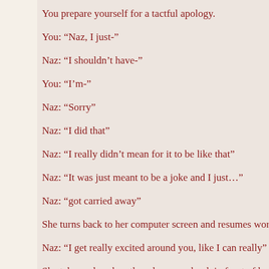You prepare yourself for a tactful apology.
You: “Naz, I just-”
Naz: “I shouldn’t have-”
You: “I’m-”
Naz: “Sorry”
Naz: “I did that”
Naz: “I really didn’t mean for it to be like that”
Naz: “It was just meant to be a joke and I just…”
Naz: “got carried away”
She turns back to her computer screen and resumes workin
Naz: “I get really excited around you, like I can really”
She takes a deep breath and opens a book in front of her fa